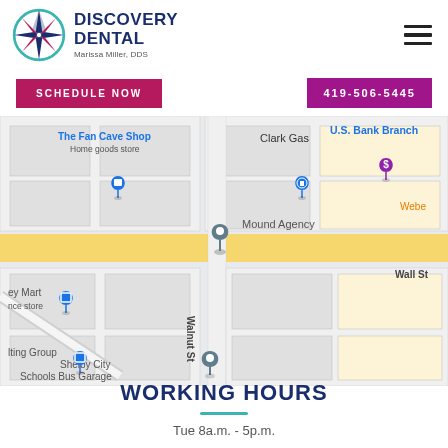[Figure (logo): Discovery Dental compass rose logo with teal circle and purple/pink star, text reads DISCOVERY DENTAL, Marissa Miller, DDS]
SCHEDULE NOW
419-506-5445
[Figure (map): Google Maps screenshot showing location near Walnut St. Landmarks visible: The Fan Cave Shop, Clark Gas, U.S. Bank Branch, Mound Agency, ey Mart, lting Group, Shelby City Schools Bus Garage, Wall St. A gray map pin marks the dental office location on the main road.]
WORKING HOURS
Tue 8a.m. - 5p.m.